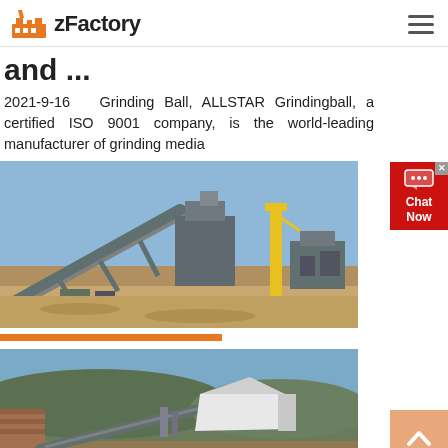zFactory
and ...
2021-9-16  Grinding Ball, ALLSTAR Grindingball, a certified ISO 9001 company, is the world-leading manufacturer of grinding media
[Figure (photo): Industrial mineral processing or mining facility with conveyor belts, machinery, and a yellow crane/tower against a blue sky in a dry landscape.]
[Figure (photo): Outdoor mining or quarry equipment scene with conveyor, tent-like structure, and hillside in background.]